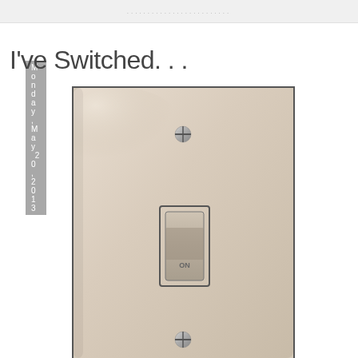......................
Monday, May 20, 2013
I've Switched. . .
[Figure (photo): Close-up photograph of a beige/cream wall light switch plate with a toggle switch in the ON position and two visible screws.]